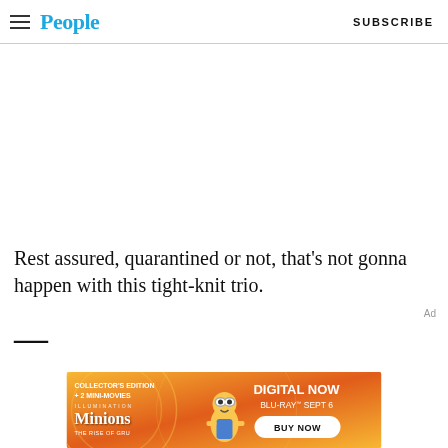People | SUBSCRIBE
Rest assured, quarantined or not, that's not gonna happen with this tight-knit trio.
[Figure (illustration): Minions: The Rise of Gru movie advertisement banner. Collector's Edition + 2 Mini-Movies. Digital Now. Blu-Ray Sept 6. Buy Now.]